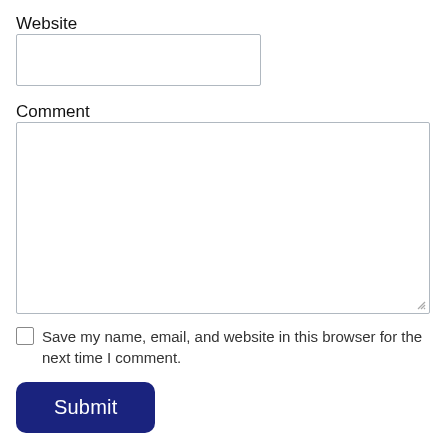Website
Comment
Save my name, email, and website in this browser for the next time I comment.
Submit
Notify me of followup comments via e-mail